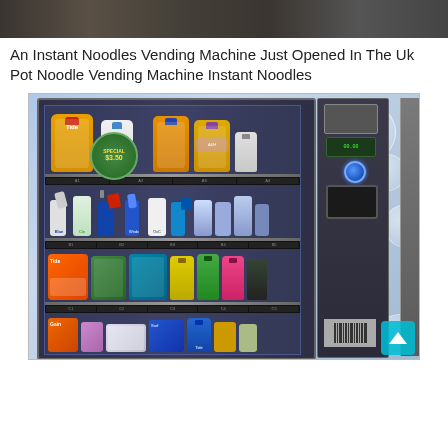[Figure (photo): Partial top image, dark/cropped photo visible at top of page]
An Instant Noodles Vending Machine Just Opened In The Uk Pot Noodle Vending Machine Instant Noodles
[Figure (photo): Photo of a vending machine stocked with laundry detergent and cleaning products (Tide, Arm & Hammer, Windex, etc.), displayed in rows behind glass. Machine has blue bubble-patterned exterior. A second machine is partially visible on the right.]